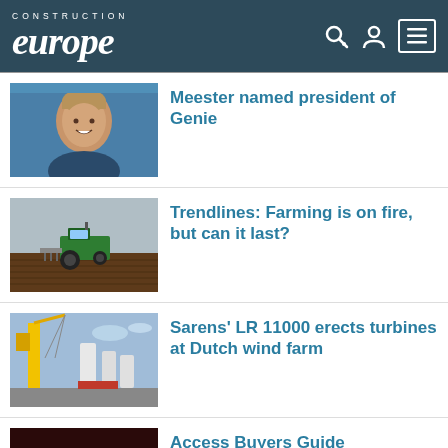CONSTRUCTION europe
Meester named president of Genie
Trendlines: Farming is on fire, but can it last?
Sarens' LR 11000 erects turbines at Dutch wind farm
Access Buyers Guide